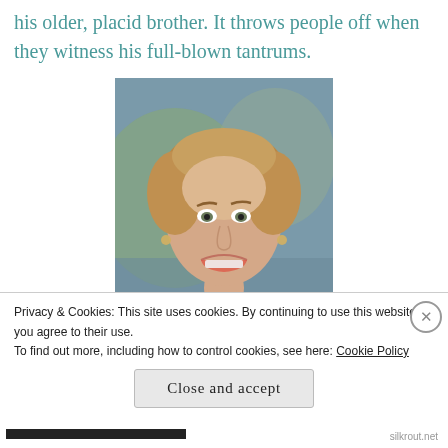his older, placid brother. It throws people off when they witness his full-blown tantrums.
[Figure (photo): A woman with short blonde/brown curly hair, wearing a pink blazer with dark trim, making a grimacing facial expression. She appears to be a TV personality or news anchor, photographed against a blurred blue-green background.]
Privacy & Cookies: This site uses cookies. By continuing to use this website, you agree to their use.
To find out more, including how to control cookies, see here: Cookie Policy
Close and accept